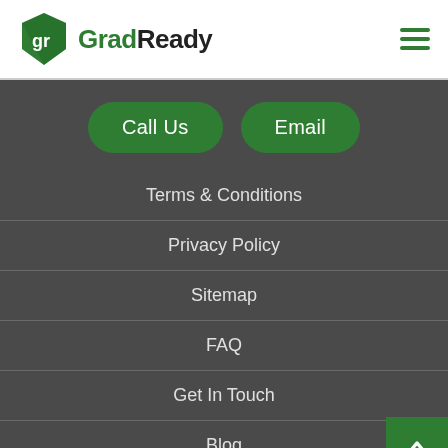GradReady
[Figure (logo): GradReady logo with green shield icon and text]
Call Us
Email
Terms & Conditions
Privacy Policy
Sitemap
FAQ
Get In Touch
Blog
Connect With Us
[Figure (other): Support button with question mark icon]